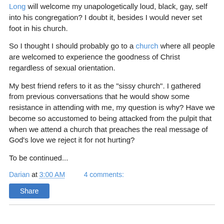Long will welcome my unapologetically loud, black, gay, self into his congregation? I doubt it, besides I would never set foot in his church.
So I thought I should probably go to a church where all people are welcomed to experience the goodness of Christ regardless of sexual orientation.
My best friend refers to it as the "sissy church". I gathered from previous conversations that he would show some resistance in attending with me, my question is why? Have we become so accustomed to being attacked from the pulpit that when we attend a church that preaches the real message of God's love we reject it for not hurting?
To be continued...
Darian at 3:00 AM    4 comments:
Share